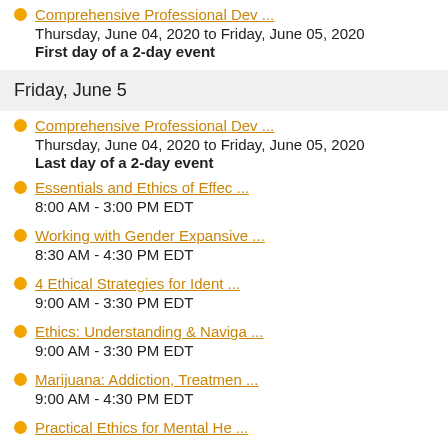Comprehensive Professional Dev ...
Thursday, June 04, 2020 to Friday, June 05, 2020
First day of a 2-day event
Friday, June 5
Comprehensive Professional Dev ...
Thursday, June 04, 2020 to Friday, June 05, 2020
Last day of a 2-day event
Essentials and Ethics of Effec ...
8:00 AM - 3:00 PM EDT
Working with Gender Expansive ...
8:30 AM - 4:30 PM EDT
4 Ethical Strategies for Ident ...
9:00 AM - 3:30 PM EDT
Ethics: Understanding & Naviga ...
9:00 AM - 3:30 PM EDT
Marijuana: Addiction, Treatmen ...
9:00 AM - 4:30 PM EDT
Practical Ethics for Mental He ...